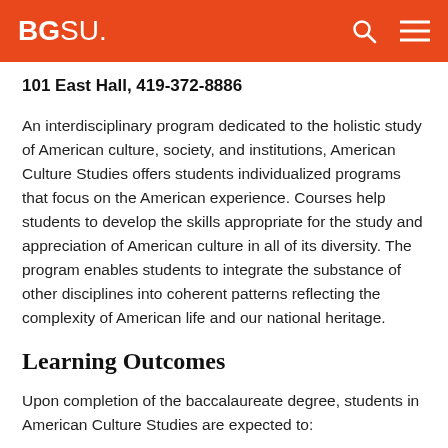BGSU.
101 East Hall, 419-372-8886
An interdisciplinary program dedicated to the holistic study of American culture, society, and institutions, American Culture Studies offers students individualized programs that focus on the American experience. Courses help students to develop the skills appropriate for the study and appreciation of American culture in all of its diversity. The program enables students to integrate the substance of other disciplines into coherent patterns reflecting the complexity of American life and our national heritage.
Learning Outcomes
Upon completion of the baccalaureate degree, students in American Culture Studies are expected to: